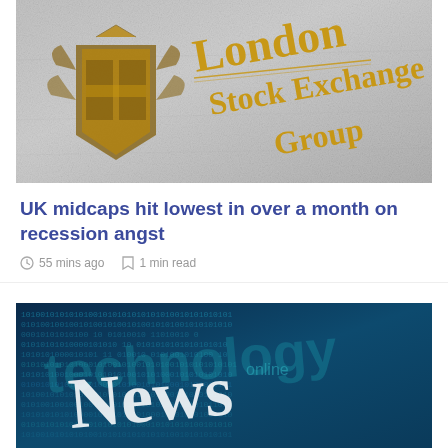[Figure (photo): Close-up photo of the London Stock Exchange Group sign with gold lettering and coat of arms on a stone/marble surface]
UK midcaps hit lowest in over a month on recession angst
55 mins ago   1 min read
[Figure (photo): Digital technology news background with binary code in blue tones and the word 'News' in large white text overlaid with 'technology' and 'online']